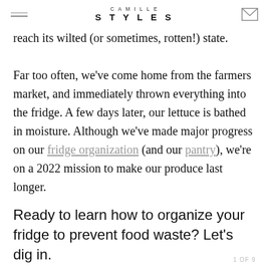CAMILLE STYLES
reach its wilted (or sometimes, rotten!) state.

Far too often, we've come home from the farmers market, and immediately thrown everything into the fridge. A few days later, our lettuce is bathed in moisture. Although we've made major progress on our fridge organization (and our pantry), we're on a 2022 mission to make our produce last longer.
Ready to learn how to organize your fridge to prevent food waste? Let's dig in.
1 OF 9